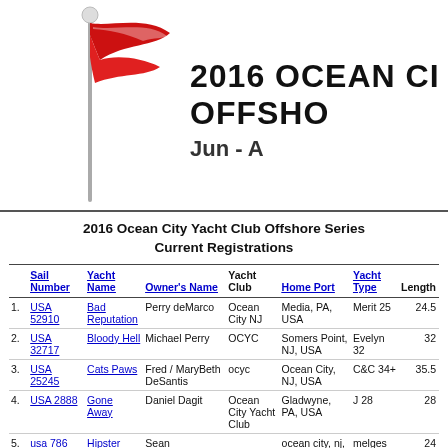2016 OCEAN CITY YACHT CLUB OFFSHORE SERIES Jun - A
2016 Ocean City Yacht Club Offshore Series
Current Registrations
|  | Sail Number | Yacht Name | Owner's Name | Yacht Club | Home Port | Yacht Type | Length |
| --- | --- | --- | --- | --- | --- | --- | --- |
| 1. | USA 52910 | Bad Reputation | Perry deMarco | Ocean City NJ | Media, PA, USA | Merit 25 | 24.5 |
| 2. | USA 32717 | Bloody Hell | Michael Perry | OCYC | Somers Point, NJ, USA | Evelyn 32 | 32 |
| 3. | USA 25245 | Cats Paws | Fred / MaryBeth DeSantis | ocyc | Ocean City, NJ, USA | C&C 34+ | 35.5 |
| 4. | USA 2888 | Gone Away | Daniel Dagit | Ocean City Yacht Club | Gladwyne, PA, USA | J 28 | 28 |
| 5. | usa 786 | Hipster | Sean Scarborough |  | ocean city, nj, USA | melges 24 | 24 |
| 6. | USA 672 | Ibis | Mike Lukens | Ocean city | Ocean city, NJ, USA | Person triton | 28 |
| 7. | 203 | Maccabee | Richard Levitt | OCYC | Northfield, NJ, USA | J-105 | 34 |
| 8. | USA 73297 | Mutual Fun | Marc Wagner | OCYC | Yardley, Penna, USA | C&C 37+ | 39.5 |
| 9. | USA 447 | Pollinon | Neil Blechman | OCYC | Matawan, NJ, |  |